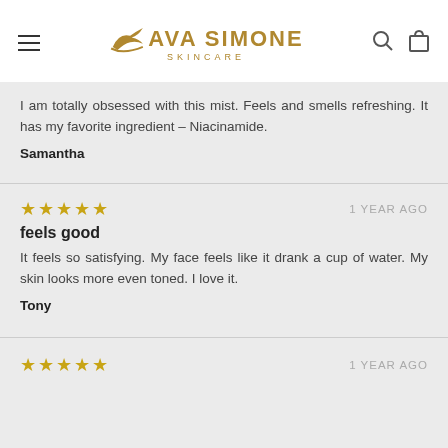AVA SIMONE SKINCARE
I am totally obsessed with this mist. Feels and smells refreshing. It has my favorite ingredient – Niacinamide.
Samantha
[Figure (other): 5 gold star rating]
1 YEAR AGO
feels good
It feels so satisfying. My face feels like it drank a cup of water. My skin looks more even toned. I love it.
Tony
[Figure (other): 5 gold star rating]
1 YEAR AGO